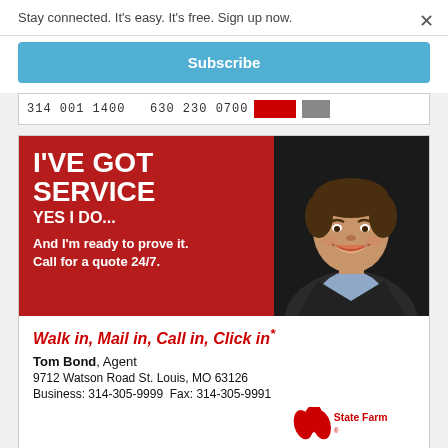Stay connected. It's easy. It's free. Sign up now.
×
Subscribe
314 001 1400   630 230 0700
[Figure (photo): State Farm insurance advertisement featuring agent Tom Bond. Red background with white bold text reading I'VE GOT SERVICE YES I DO... And I'm ready to prove it. Call for a quote 24/7. Photo of a smiling middle-aged man in a dark blazer. Bottom white section: Walk in, Mail in, Call in, Click in* — Tom Bond, Agent — 9712 Watson Road St. Louis, MO 63126 — Business: 314-305-9999  Fax: 314-305-9991 — State Farm logo]